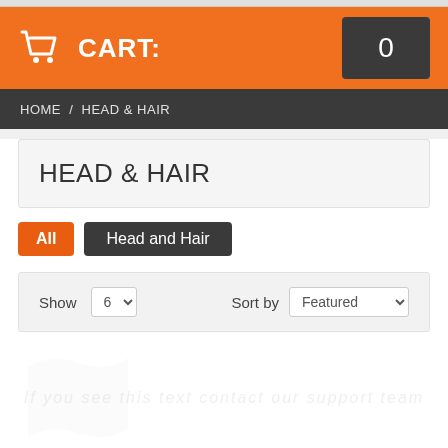CART: 0
HOME / HEAD & HAIR
HEAD & HAIR
All
Head and Hair
Show 6   Sort by Featured